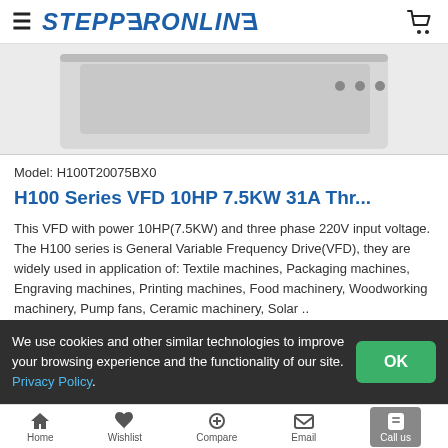STEPPERONLINE
[Figure (photo): Partial product photo of the H100 Series VFD unit, showing the grey metal casing with connector ports, cropped at the bottom of the header area.]
Model: H100T20075BX0
H100 Series VFD 10HP 7.5KW 31A Thr...
This VFD with power 10HP(7.5KW) and three phase 220V input voltage. The H100 series is General Variable Frequency Drive(VFD), they are widely used in application of: Textile machines, Packaging machines, Engraving machines, Printing machines, Food machinery, Woodworking machinery, Pump fans, Ceramic machinery, Solar ..
We use cookies and other similar technologies to improve your browsing experience and the functionality of our site. Privacy Policy.
Home   Wishlist   Compare   Email   Call us